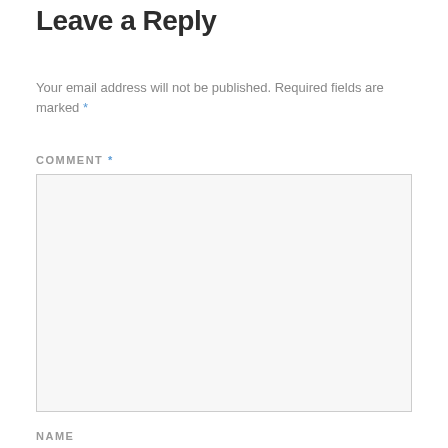Leave a Reply
Your email address will not be published. Required fields are marked *
COMMENT *
[Figure (other): Empty comment textarea input box with light gray background and border]
NAME